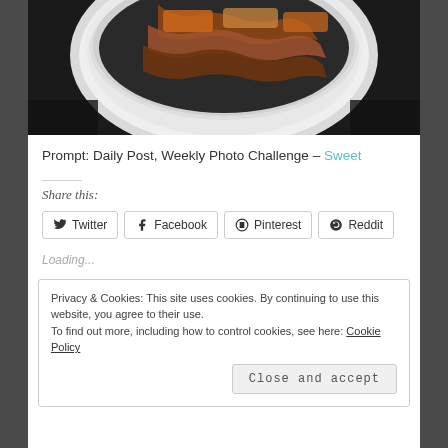[Figure (photo): Close-up photo of food in a white bowl — appears to be a dessert with sauce drizzled on top, viewed from above on a dark background]
Prompt: Daily Post, Weekly Photo Challenge – Sweet
Share this:
Twitter  Facebook  Pinterest  Reddit
Loading...
Privacy & Cookies: This site uses cookies. By continuing to use this website, you agree to their use.
To find out more, including how to control cookies, see here: Cookie Policy
Close and accept